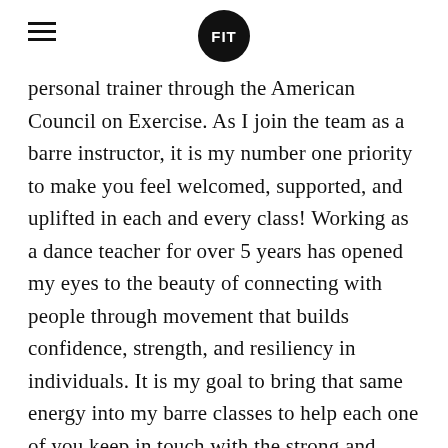FIT
personal trainer through the American Council on Exercise. As I join the team as a barre instructor, it is my number one priority to make you feel welcomed, supported, and uplifted in each and every class! Working as a dance teacher for over 5 years has opened my eyes to the beauty of connecting with people through movement that builds confidence, strength, and resiliency in individuals. It is my goal to bring that same energy into my barre classes to help each one of you keep in touch with the strong and fierce woman that you are! So let’s meet at the barre, get our sweat on, and grow together! I’m looking forward to meeting you!